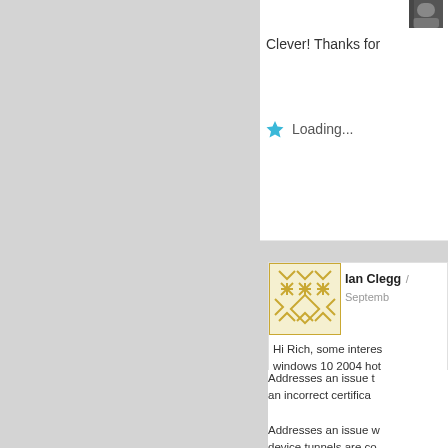[Figure (photo): Small dark avatar photo in top right area]
Clever! Thanks for
Loading...
[Figure (illustration): Ian Clegg avatar with gold geometric pattern]
Ian Clegg / September
Hi Rich, some interes… windows 10 2004 hot
Addresses an issue t… from automatically r… or Hibernate.
Addresses an issue t… an incorrect certifica
Addresses an issue w… device tunnels are co… endpoint.